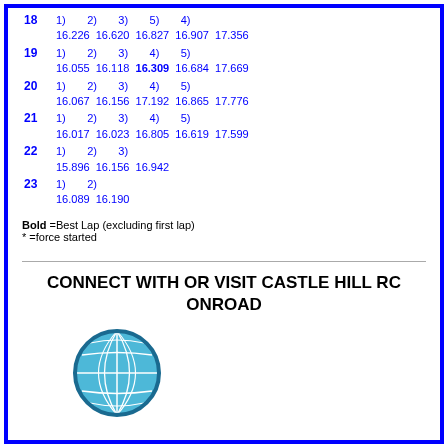| # | Lap | Time |
| --- | --- | --- |
| 18 | 1) 16.226 | 2) 16.620 | 3) 16.827 | 5) 16.907 | 4) 17.356 |
| 19 | 1) 16.055 | 2) 16.118 | 3) 16.309 | 4) 16.684 | 5) 17.669 |
| 20 | 1) 16.067 | 2) 16.156 | 3) 17.192 | 4) 16.865 | 5) 17.776 |
| 21 | 1) 16.017 | 2) 16.023 | 3) 16.805 | 4) 16.619 | 5) 17.599 |
| 22 | 1) 15.896 | 2) 16.156 | 3) 16.942 |
| 23 | 1) 16.089 | 2) 16.190 |
Bold =Best Lap (excluding first lap)
* =force started
CONNECT WITH OR VISIT CASTLE HILL RC ONROAD
[Figure (illustration): Globe/world icon in blue circle]